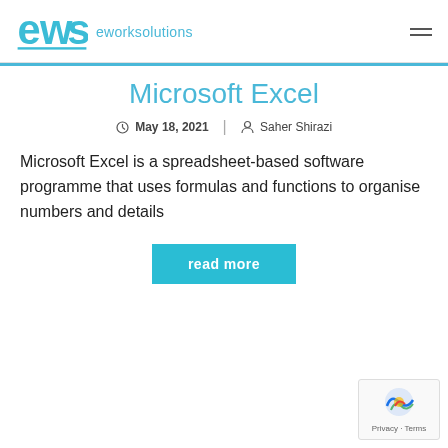ews eworksolutions
Microsoft Excel
May 18, 2021  |  Saher Shirazi
Microsoft Excel is a spreadsheet-based software programme that uses formulas and functions to organise numbers and details
read more